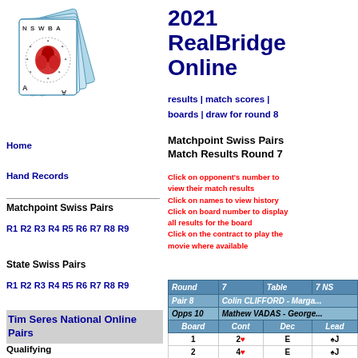[Figure (logo): NSWBA playing cards logo with red waratah flower and stars]
2021 RealBridge Online
results | match scores | boards | draw for round 8
Matchpoint Swiss Pairs Match Results Round 7
Click on opponent's number to view their match results
Click on names to view history
Click on board number to display all results for the board
Click on the contract to play the movie where available
Home
Hand Records
Matchpoint Swiss Pairs
R1 R2 R3 R4 R5 R6 R7 R8 R9
State Swiss Pairs
R1 R2 R3 R4 R5 R6 R7 R8 R9
Tim Seres National Online Pairs
Qualifying
| Round | 7 | Table | 7 NS |
| --- | --- | --- | --- |
| Pair 8 | Colin CLIFFORD - Marga... |  |  |
| Opps 10 | Mathew VADAS - George... |  |  |
| Board | Cont | Dec | Lead | Sc... |
| 1 | 2♥ | E | ♠J | 10... |
| 2 | 4♥ | E | ♠J | 10... |